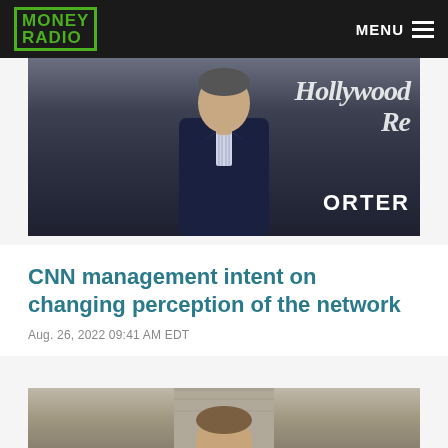MONEY RADIO | MENU
[Figure (photo): Man in dark suit and striped dress shirt standing in front of Hollywood Reporter backdrop]
CNN management intent on changing perception of the network
Aug. 26, 2022 09:41 AM EDT
[Figure (photo): Partial photo of a man, showing top of head with brown hair against a stone or concrete background]